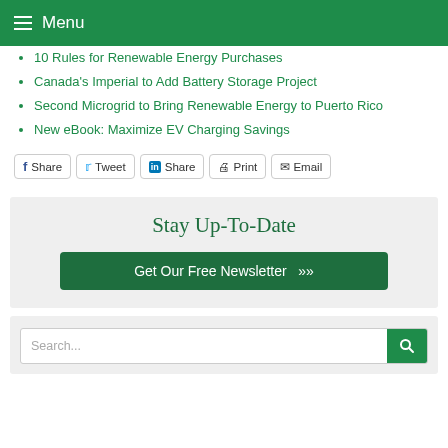Menu
10 Rules for Renewable Energy Purchases
Canada's Imperial to Add Battery Storage Project
Second Microgrid to Bring Renewable Energy to Puerto Rico
New eBook: Maximize EV Charging Savings
Share | Tweet | Share | Print | Email
Stay Up-To-Date
Get Our Free Newsletter »
Search...